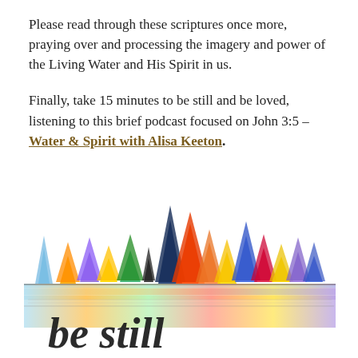Please read through these scriptures once more, praying over and processing the imagery and power of the Living Water and His Spirit in us.
Finally, take 15 minutes to be still and be loved, listening to this brief podcast focused on John 3:5 – Water & Spirit with Alisa Keeton.
[Figure (illustration): Watercolor illustration of colorful pine trees (purple, yellow, green, blue, red, orange) reflected in water below, with cursive text 'be still' written in black at the bottom.]